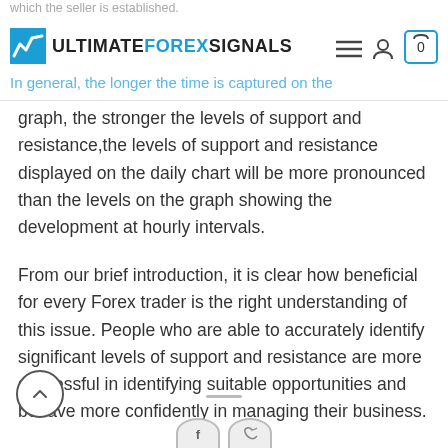UltimateForexSignals
which the seller is established.
In general, the longer the time is captured on the graph, the stronger the levels of support and resistance,the levels of support and resistance displayed on the daily chart will be more pronounced than the levels on the graph showing the development at hourly intervals.
From our brief introduction, it is clear how beneficial for every Forex trader is the right understanding of this issue. People who are able to accurately identify significant levels of support and resistance are more successful in identifying suitable opportunities and behave more confidently in managing their business.